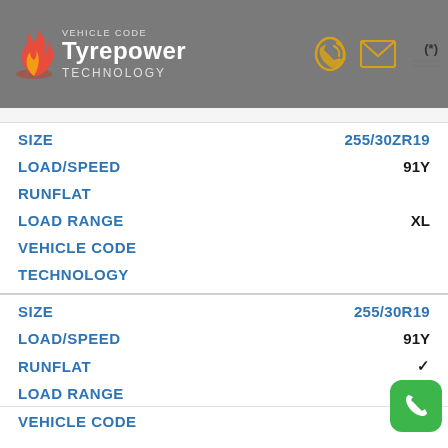VEHICLE CODE Tyrepower TECHNOLOGY
SIZE 255/30ZR19
LOAD/SPEED 91Y
RUNFLAT
LOAD RANGE XL
VEHICLE CODE
TECHNOLOGY
SIZE 255/30R19
LOAD/SPEED 91Y
RUNFLAT ✓
LOAD RANGE
VEHICLE CODE